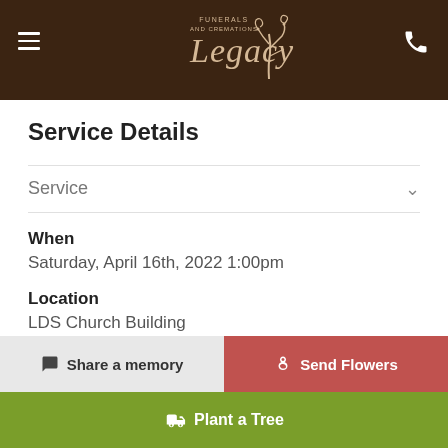[Figure (logo): Legacy Funerals and Cremations logo with decorative tree and script text on dark brown header background]
Service Details
Service
When
Saturday, April 16th, 2022 1:00pm
Location
LDS Church Building
Address
3000 South Street
Titusville, Florida
Share a memory
Send Flowers
Plant a Tree